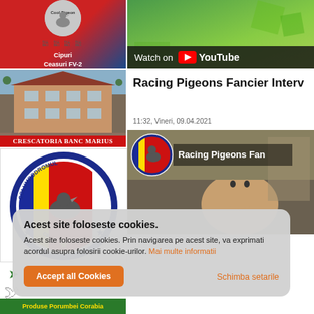[Figure (screenshot): Cool Pigeon logo thumbnail with Chinese characters, red and blue background, text 'Cipuri Ceasuri FV-2']
[Figure (photo): Building/house photo with red banner reading 'CRESCATORIA BANC MARIUS']
[Figure (logo): Columbodromul circular logo with pigeon and Romanian flag colors]
[Figure (screenshot): YouTube 'Watch on YouTube' overlay on green background]
Racing Pigeons Fancier Interv
11:32, Vineri, 09.04.2021
[Figure (screenshot): Video thumbnail showing 'Racing Pigeons Fan' with person and pigeon logo]
Acest site foloseste cookies. Acest site foloseste cookies. Prin navigarea pe acest site, va exprimati acordul asupra folosirii cookie-urilor. Mai multe informatii
Accept all Cookies
Schimba setarile
Produse Porumbei Corabia